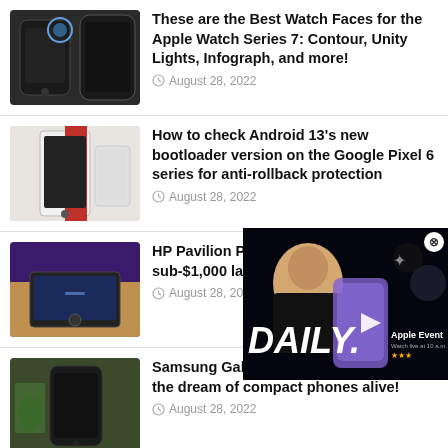These are the Best Watch Faces for the Apple Watch Series 7: Contour, Unity Lights, Infograph, and more! — August 28, 2022
How to check Android 13's new bootloader version on the Google Pixel 6 series for anti-rollback protection — August 28, 2022
HP Pavilion Plus review: 90Hz OLED in a sub-$1,000 laptop — August 28, 2022
Samsung Galaxy S22 revisited: Keeping the dream of compact phones alive! — August 28, 2022
[Figure (screenshot): Video player overlay showing 'DAILY.' text with Apple Event branding and a person's photo, with close button]
[Figure (screenshot): Advertisement for BitLife - Life Simulator app with smiley face icon and INSTALL button]